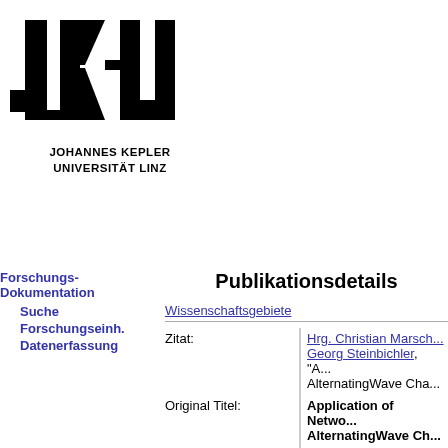[Figure (logo): JKU Johannes Kepler Universität Linz logo with stylized JKU letters and full university name below]
Forschungs-Dokumentation
Suche
Forschungseinh.
Datenerfassung
Publikationsdetails
Wissenschaftsgebiete
| Field | Value |
| --- | --- |
| Zitat: | Hrg. Christian Marsch...
Georg Steinbichler, "A...
AlternatingWave Cha... |
| Original Titel: | Application of Netwo...
AlternatingWave Ch... |
| Sprache des Titels: | Englisch |
| Original Kurzfassung: | Wave-dispersion scre... extrusion processes, ... performance screws a... conventional screw w... parallel flow channels. ... cycles. With the barrie... undercut, the molten a... secondary flight, assu... melt. Despite the indu... investigated the flow i... current screw designs... procedures rather tha... which was split into tv... issue. The research r... |